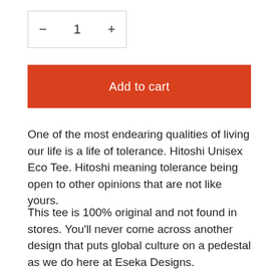[Figure (other): Quantity selector widget showing minus button, number 1, and plus button inside a bordered box]
Add to cart
One of the most endearing qualities of living our life is a life of tolerance. Hitoshi Unisex Eco Tee. Hitoshi meaning tolerance being open to other opinions that are not like yours.
This tee is 100% original and not found in stores. You'll never come across another design that puts global culture on a pedestal as we do here at Eseka Designs.